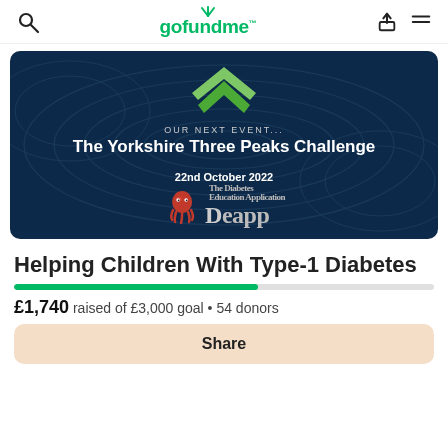gofundme
[Figure (illustration): Dark navy blue banner image with topographic map contour lines. Center shows a green double-chevron/mountain peak logo. Text reads 'OUR NEXT EVENT...' then 'The Yorkshire Three Peaks Challenge' in bold white, '22nd October 2022', and 'Deapp' logo with red octopus mascot at bottom.]
Helping Children With Type-1 Diabetes
£1,740 raised of £3,000 goal • 54 donors
Share